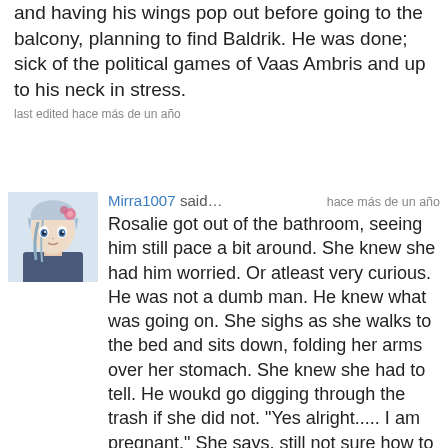and having his wings pop out before going to the balcony, planning to find Baldrik. He was done; sick of the political games of Vaas Ambris and up to his neck in stress.
last edited hace más de un año
Mirra1007 said… hace más de un año
Rosalie got out of the bathroom, seeing him still pace a bit around. She knew she had him worried. Or atleast very curious. He was not a dumb man. He knew what was going on. She sighs as she walks to the bed and sits down, folding her arms over her stomach. She knew she had to tell. He woukd go digging through the trash if she did not. "Yes alright..... I am pregnant." She says, still not sure how to feel about it.
--------
Annelise slowly opened her eyes as she heard movement next to her, seeing it was Jyran. She frowns a bit as she saw him writing something down and when he went to the balcony she sat upright to take